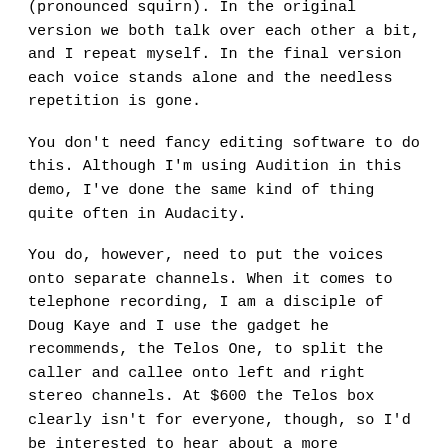(pronounced squirn). In the original version we both talk over each other a bit, and I repeat myself. In the final version each voice stands alone and the needless repetition is gone.
You don't need fancy editing software to do this. Although I'm using Audition in this demo, I've done the same kind of thing quite often in Audacity.
You do, however, need to put the voices onto separate channels. When it comes to telephone recording, I am a disciple of Doug Kaye and I use the gadget he recommends, the Telos One, to split the caller and callee onto left and right stereo channels. At $600 the Telos box clearly isn't for everyone, though, so I'd be interested to hear about a more accessible way to achieve channel separation.
As I mention in the screencast, it's tedious to do this kind of editing. But it can go pretty fast